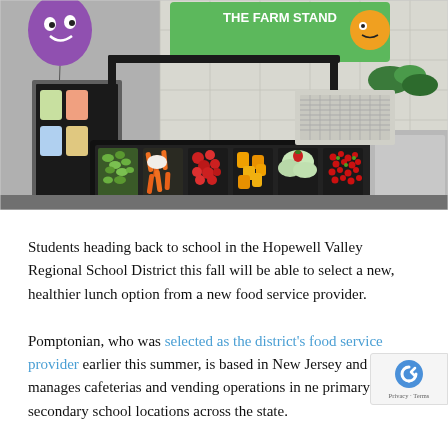[Figure (photo): A school cafeteria farm stand salad bar with multiple trays of colorful fresh vegetables and fruits (green grapes, carrots, tomatoes, orange peppers, cauliflower with dressing, pomegranate seeds) in black inserts on a serving counter. A green 'The Farm Stand' sign is visible in the background along with a purple fruit balloon character.]
Students heading back to school in the Hopewell Valley Regional School District this fall will be able to select a new, healthier lunch option from a new food service provider.
Pomptonian, who was selected as the district's food service provider earlier this summer, is based in New Jersey and manages cafeterias and vending operations in nearly primary and secondary school locations across the state.